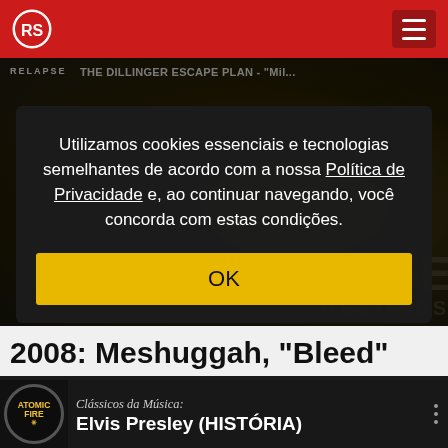RS logo / Rolling Stone header with hamburger menu
[Figure (screenshot): Background dark video thumbnail with RELAPSE text and THE DILLINGER ESCAPE PLAN video title partially visible, with RELAPSE RECORDS watermark]
Utilizamos cookies essenciais e tecnologias semelhantes de acordo com a nossa Política de Privacidade e, ao continuar navegando, você concorda com estas condições.
OK
2008: Meshuggah, "Bleed"
[Figure (screenshot): Atomic Fire Records logo and video card showing 'Clássicos da Música: Elvis Presley (HISTÓRIA)']